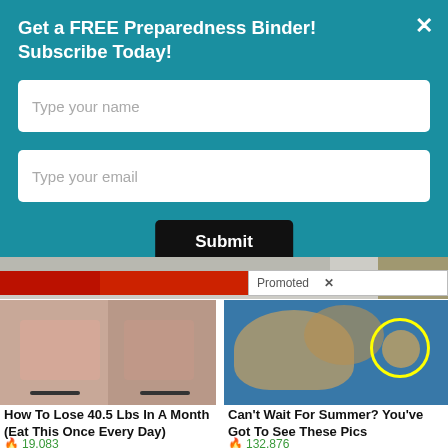Get a FREE Preparedness Binder! Subscribe Today!
[Figure (screenshot): Email subscription form with name and email input fields and Submit button on teal background]
[Figure (screenshot): Promoted content bar with partial images below the popup]
[Figure (photo): Before and after weight loss photos showing woman from behind]
How To Lose 40.5 Lbs In A Month (Eat This Once Every Day)
🔥 19,083
[Figure (photo): Photo of people in a water slide pool with a yellow circle highlight]
Can't Wait For Summer? You've Got To See These Pics
🔥 132,876